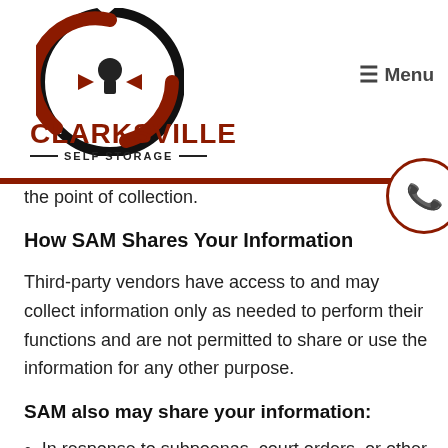[Figure (logo): Clarksville Self Storage logo with circular lock icon in black and dark red, with company name below]
≡ Menu
the point of collection.
How SAM Shares Your Information
Third-party vendors have access to and may collect information only as needed to perform their functions and are not permitted to share or use the information for any other purpose.
SAM also may share your information:
In response to subpoenas, court orders, or other legal